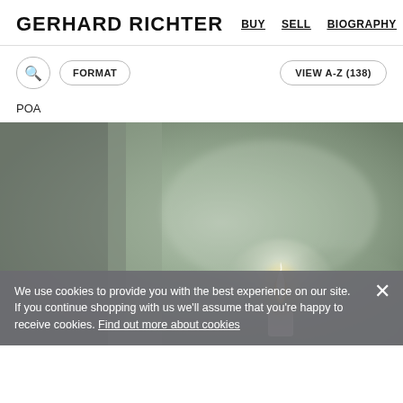GERHARD RICHTER  BUY  SELL  BIOGRAPHY  REC…
FORMAT
VIEW A-Z (138)
POA
[Figure (photo): Painting of a lit candle with a soft blurred background in muted green and grey tones, characteristic of Gerhard Richter's photorealistic style.]
We use cookies to provide you with the best experience on our site. If you continue shopping with us we'll assume that you're happy to receive cookies. Find out more about cookies